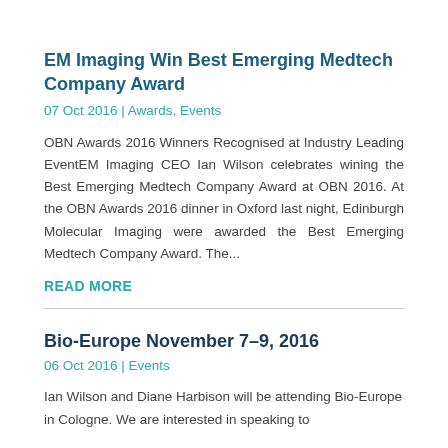EM Imaging Win Best Emerging Medtech Company Award
07 Oct 2016 | Awards, Events
OBN Awards 2016 Winners Recognised at Industry Leading EventEM Imaging CEO Ian Wilson celebrates wining the Best Emerging Medtech Company Award at OBN 2016.  At the OBN Awards 2016 dinner in Oxford last night,  Edinburgh Molecular Imaging were awarded the Best Emerging Medtech Company Award.  The...
READ MORE
Bio-Europe November 7–9, 2016
06 Oct 2016 | Events
Ian Wilson and Diane Harbison will be attending Bio-Europe in Cologne. We are interested in speaking to